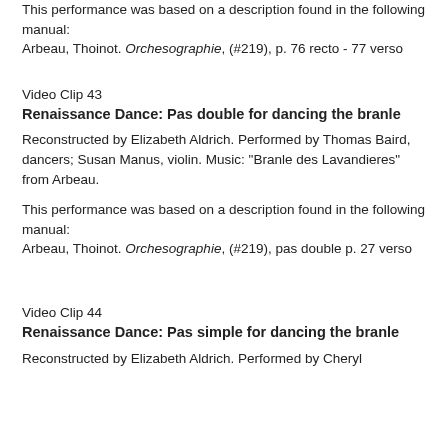This performance was based on a description found in the following manual:
Arbeau, Thoinot. Orchesographie, (#219), p. 76 recto - 77 verso
Video Clip 43
Renaissance Dance: Pas double for dancing the branle
Reconstructed by Elizabeth Aldrich. Performed by Thomas Baird, dancers; Susan Manus, violin. Music: "Branle des Lavandieres" from Arbeau.
This performance was based on a description found in the following manual:
Arbeau, Thoinot. Orchesographie, (#219), pas double p. 27 verso
Video Clip 44
Renaissance Dance: Pas simple for dancing the branle
Reconstructed by Elizabeth Aldrich. Performed by Cheryl